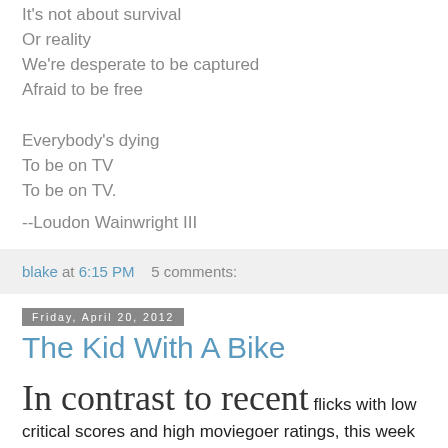It's not about survival
Or reality
We're desperate to be captured
Afraid to be free

Everybody's dying
To be on TV
To be on TV.
--Loudon Wainwright III
blake at 6:15 PM   5 comments:
Friday, April 20, 2012
The Kid With A Bike
In contrast to recent flicks with low critical scores and high moviegoer ratings, this week went to see The Kid With A Bike, a Belgian film by the Dardenne brothers, who've